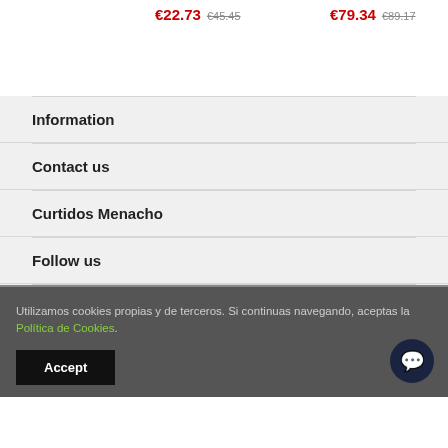€22.73  €45.45
€79.34  €89.17
Information
Contact us
Curtidos Menacho
Follow us
Utilizamos cookies propias y de terceros. Si continuas navegando, aceptas la Política de Cookies.
Accept